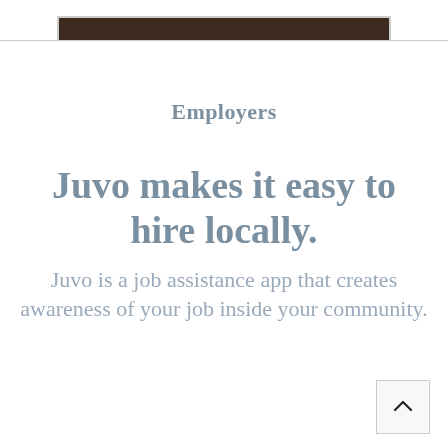[Figure (screenshot): Partial screenshot of a dark brown/wooden bar element at the top of the page, shown above a horizontal divider line.]
Employers
Juvo makes it easy to hire locally.
Juvo is a job assistance app that creates awareness of your job inside your community.